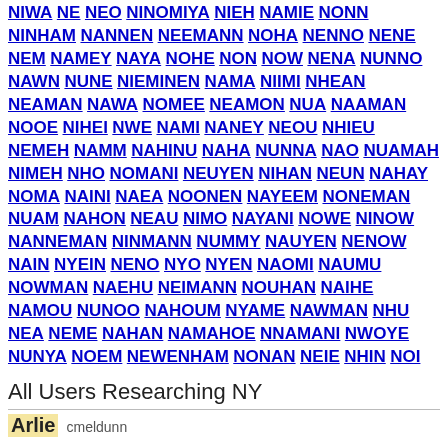NIWA NE NEO NINOMIYA NIEH NAMIE NONN NINHAM NANNEN NEEMANN NOHA NENNO NENE NEM NAMEY NAYA NOHE NON NOW NENA NUNNO NAWN NUNE NIEMINEN NAMA NIIMI NHEAN NEAMAN NAWA NOMEE NEAMON NUA NAAMAN NOOE NIHEI NWE NAMI NANEY NEOU NHIEU NEMEH NAMM NAHINU NAHA NUNNA NAO NUAMAH NIMEH NHO NOMANI NEUYEN NIHAN NEUN NAHAY NOMA NAINI NAEA NOONEN NAYEEM NONEMAN NUAM NAHON NEAU NIMO NAYANI NOWE NINOW NANNEMAN NINMANN NUMMY NAUYEN NENOW NAIN NYEIN NENO NYO NYEN NAOMI NAUMU NOWMAN NAEHU NEIMANN NOUHAN NAIHE NAMOU NUNOO NAHOUM NYAME NAWMAN NHU NEA NEME NAHAN NAMAHOE NNAMANI NWOYE NUNYA NOEM NEWENHAM NONAN NEIE NHIN NOI
All Users Researching NY
Arlie  cmeldunn